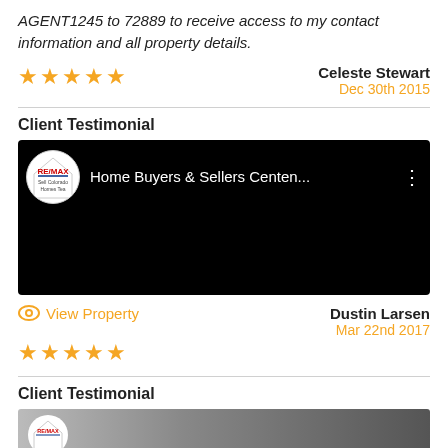AGENT1245 to 72889 to receive access to my contact information and all property details.
Celeste Stewart
Dec 30th 2015
Client Testimonial
[Figure (screenshot): YouTube-style video thumbnail showing RE/MAX logo and title 'Home Buyers & Sellers Centen...' on black background]
View Property
Dustin Larsen
Mar 22nd 2017
Client Testimonial
[Figure (screenshot): Partial video thumbnail with RE/MAX logo circle visible at bottom of page]